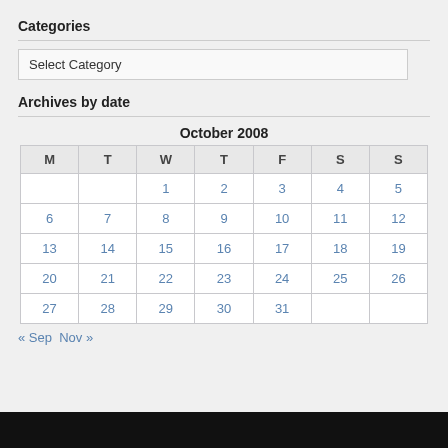Categories
Select Category
Archives by date
| M | T | W | T | F | S | S |
| --- | --- | --- | --- | --- | --- | --- |
|  |  | 1 | 2 | 3 | 4 | 5 |
| 6 | 7 | 8 | 9 | 10 | 11 | 12 |
| 13 | 14 | 15 | 16 | 17 | 18 | 19 |
| 20 | 21 | 22 | 23 | 24 | 25 | 26 |
| 27 | 28 | 29 | 30 | 31 |  |  |
« Sep   Nov »